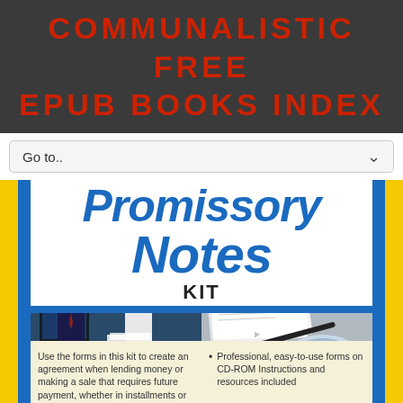COMMUNALISTIC FREE EPUB BOOKS INDEX
Go to..
[Figure (illustration): Book cover for Promissory Notes Kit. Features title text 'Promissory Notes' in large blue italic font, 'KIT' in black. Below: two photos side by side - left shows two business people at a laptop, right shows legal documents and a CD-ROM. Bottom cream section has text about using forms in the kit and bullet points about professional easy-to-use forms on CD-ROM.]
Use the forms in this kit to create an agreement when lending money or making a sale that requires future payment, whether in installments or at a
Professional, easy-to-use forms on CD-ROM Instructions and resources included